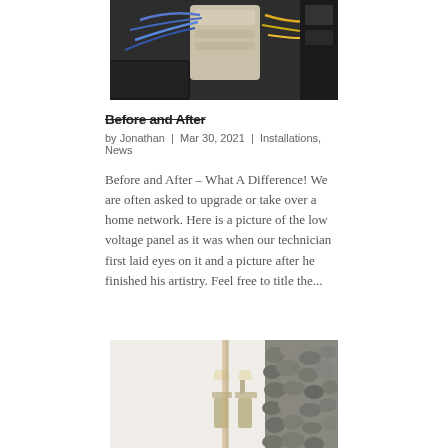[Figure (photo): Photo of a messy low voltage panel with many cables and wires tangled around equipment, dark background with networking hardware visible.]
Before and After
by Jonathan | Mar 30, 2021 | Installations, News
Before and After – What A Difference! We are often asked to upgrade or take over a home network. Here is a picture of the low voltage panel as it was when our technician first laid eyes on it and a picture after he finished his artistry. Feel free to title the...
[Figure (photo): Photo of a clean installation area, showing a white wall with a stone/rock wall feature on the right side, and what appears to be sconce lights.]